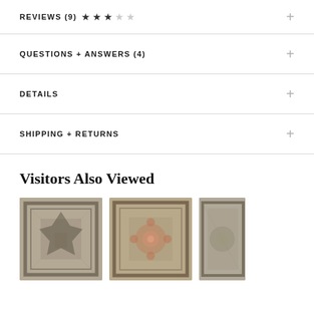REVIEWS (9) ★★★☆☆
QUESTIONS + ANSWERS (4)
DETAILS
SHIPPING + RETURNS
Visitors Also Viewed
[Figure (photo): Three ornate vintage-style area rug thumbnails shown side by side]